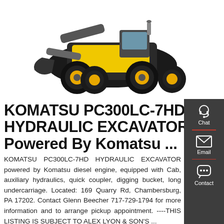[Figure (photo): Yellow and black Komatsu wheel loader/hydraulic excavator photographed from the front-left angle on white background.]
KOMATSU PC300LC-7HD HYDRAULIC EXCAVATOR Powered By Komatsu ...
KOMATSU PC300LC-7HD HYDRAULIC EXCAVATOR powered by Komatsu diesel engine, equipped with Cab, auxiliary hydraulics, quick coupler, digging bucket, long undercarriage. Located: 169 Quarry Rd, Chambersburg, PA 17202. Contact Glenn Beecher 717-729-1794 for more information and to arrange pickup appointment. ----THIS LISTING IS SUBJECT TO ALEX LYON &amp; SON'S ...